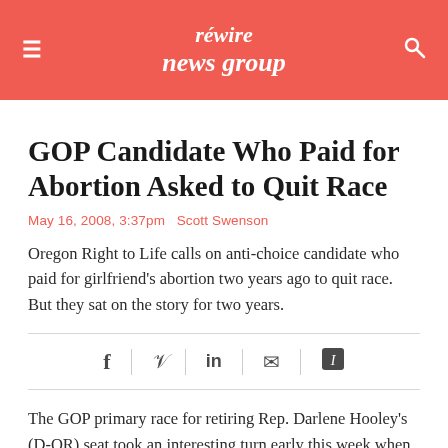rewire news group
GOP Candidate Who Paid for Abortion Asked to Quit Race
May 16, 2008, 3:37pm  Scott Swenson
Oregon Right to Life calls on anti-choice candidate who paid for girlfriend's abortion two years ago to quit race. But they sat on the story for two years.
[Figure (infographic): Social sharing icons bar: Facebook, Twitter, LinkedIn, Email, Instapaper]
The GOP primary race for retiring Rep. Darlene Hooley's (D-OR) seat took an interesting turn early this week when it was revealed one of the two self-proclaimed "Pro-Life"